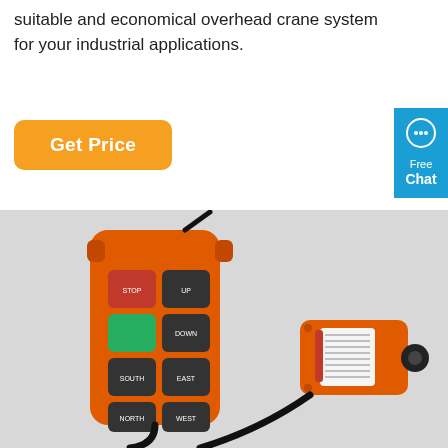suitable and economical overhead crane system for your industrial applications.
[Figure (other): Orange 'Get Price' button with rounded corners on a white background]
[Figure (other): Blue 'Free Chat' badge/widget with chat bubble icon on the right edge]
[Figure (photo): Photo of an orange industrial wireless remote control transmitter and receiver unit for an overhead crane system, placed against a light gray wall background.]